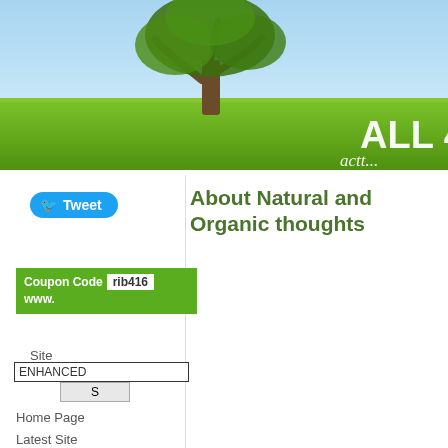[Figure (photo): Website banner showing a lone tree in a green field under a blue sky, with white text 'ALL 4 N' and italic script subtitle partially visible on the right side]
[Figure (other): Blue Twitter Tweet button on left sidebar]
About Natural and Organic thoughts
Coupon Code rib416
www.
Site
ENHANCED
S
Home Page
Latest Site